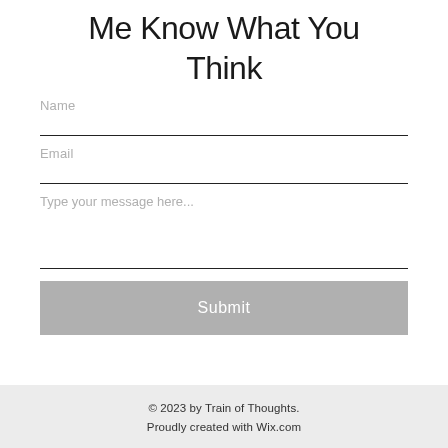Me Know What You Think
Name
Email
Type your message here...
Submit
© 2023 by Train of Thoughts. Proudly created with Wix.com